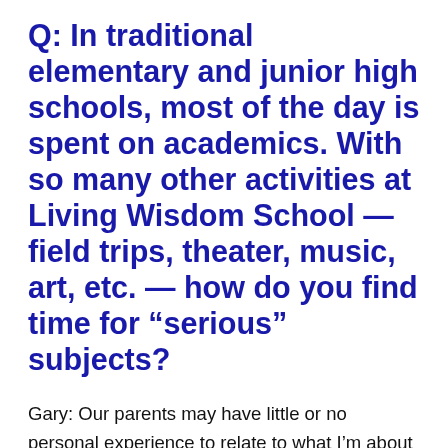Q: In traditional elementary and junior high schools, most of the day is spent on academics. With so many other activities at Living Wisdom School — field trips, theater, music, art, etc. — how do you find time for “serious” subjects?
Gary: Our parents may have little or no personal experience to relate to what I’m about to say. But